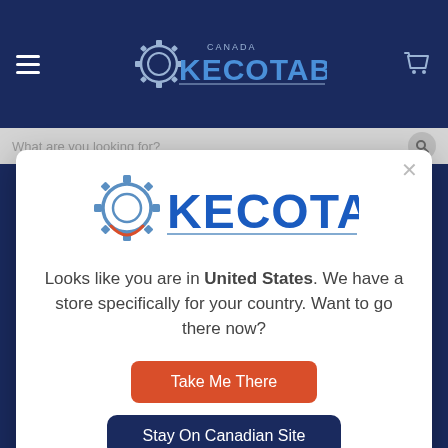[Figure (screenshot): Kecotabs Canada website header with dark navy background, hamburger menu, logo, and shopping cart icon]
[Figure (logo): Kecotabs logo in modal dialog — gear icon with KECOTABS text in blue]
Looks like you are in United States. We have a store specifically for your country. Want to go there now?
Take Me There
Stay On Canadian Site